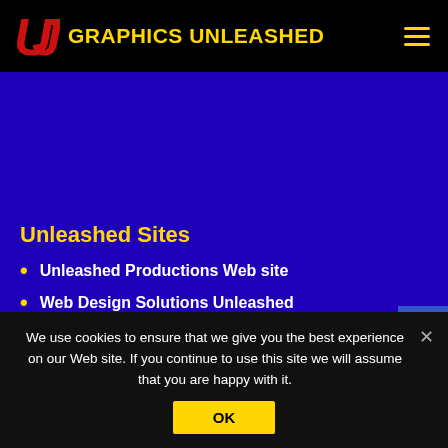GRAPHICS UNLEASHED
Unleashed Sites
Unleashed Productions Web site
Web Design Solutions Unleashed
Seamless Textures Unleashed
We use cookies to ensure that we give you the best experience on our Web site. If you continue to use this site we will assume that you are happy with it.